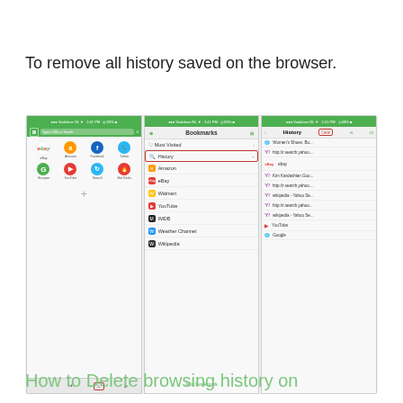To remove all history saved on the browser.
[Figure (screenshot): Three mobile phone screenshots showing steps to delete browsing history in a browser app. Screen 1: Browser home screen with app icons (eBay, Amazon, Facebook, Twitter, Groupon, YouTube, Search, Hot Deals) and a highlighted bookmarks icon at the bottom. Screen 2: Bookmarks menu showing 'Most Visited' and 'History' (highlighted in red box) options, followed by Amazon, eBay, Walmart, YouTube, IMDB, Weather Channel, Wikipedia entries, and 'Add Bookmark' at bottom. Screen 3: History screen with 'Clear' button highlighted in red, showing browsing history items including Women's Shoes, Yahoo search results, Kim Kardashian, Wikipedia, YouTube, Google.]
How to Delete browsing history on